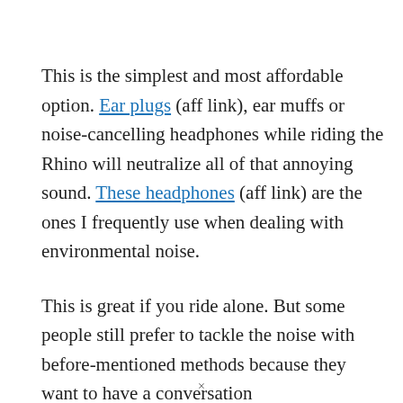This is the simplest and most affordable option. Ear plugs (aff link), ear muffs or noise-cancelling headphones while riding the Rhino will neutralize all of that annoying sound. These headphones (aff link) are the ones I frequently use when dealing with environmental noise.
This is great if you ride alone. But some people still prefer to tackle the noise with before-mentioned methods because they want to have a conversation